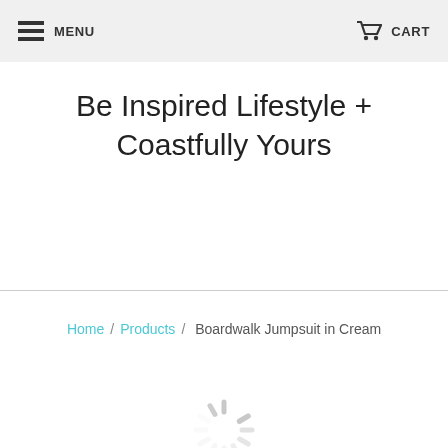MENU   CART
Be Inspired Lifestyle + Coastfully Yours
Home / Products / Boardwalk Jumpsuit in Cream
[Figure (other): Loading spinner (animated circular spinner graphic in light gray)]